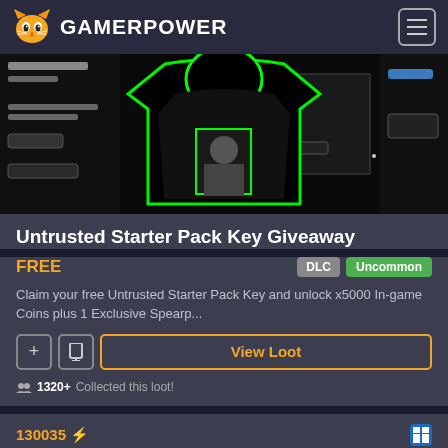GAMERPOWER
[Figure (screenshot): Game screenshot showing a dark background with a green glowing hooded figure/shirt design and game UI elements]
Untrusted Starter Pack Key Giveaway
FREE    DLC  Uncommon
Claim your free Untrusted Starter Pack Key and unlock x5000 In-game Coins plus 1 Exclusive Spearp...
View Loot
1320+ Collected this loot!
130035 ⚡